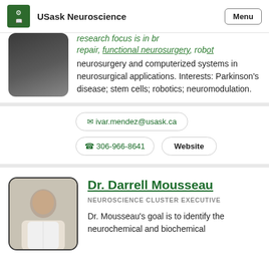USask Neuroscience
research focus is in brain repair, functional neurosurgery, robotic neurosurgery and computerized systems in neurosurgical applications. Interests: Parkinson's disease; stem cells; robotics; neuromodulation.
ivar.mendez@usask.ca
306-966-8641
Website
Dr. Darrell Mousseau
NEUROSCIENCE CLUSTER EXECUTIVE
Dr. Mousseau's goal is to identify the neurochemical and biochemical